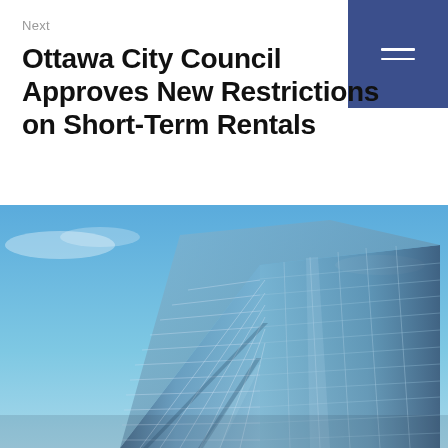Next
Ottawa City Council Approves New Restrictions on Short-Term Rentals
[Figure (photo): Low-angle view of a modern glass curtain-wall building against a blue sky, with reflections of clouds visible in the glass panels.]